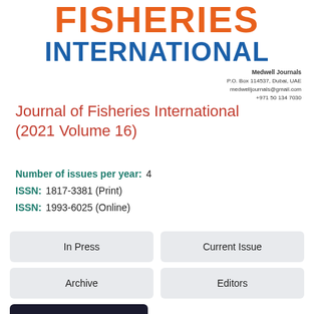FISHERIES INTERNATIONAL
Medwell Journals
P.O. Box 114537, Dubai, UAE
medwelljournals@gmail.com
+971 50 134 7030
Journal of Fisheries International (2021 Volume 16)
Number of issues per year: 4
ISSN: 1817-3381 (Print)
ISSN: 1993-6025 (Online)
In Press
Current Issue
Archive
Editors
Guide